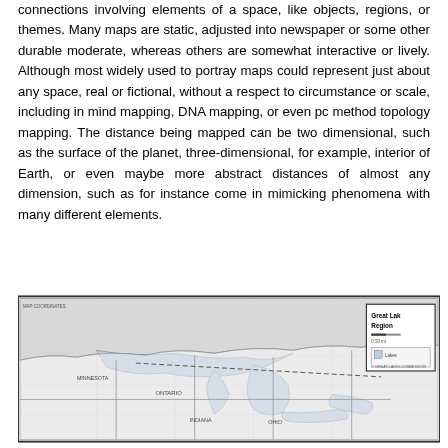connections involving elements of a space, like objects, regions, or themes. Many maps are static, adjusted into newspaper or some other durable moderate, whereas others are somewhat interactive or lively. Although most widely used to portray maps could represent just about any space, real or fictional, without a respect to circumstance or scale, including in mind mapping, DNA mapping, or even pc method topology mapping. The distance being mapped can be two dimensional, such as the surface of the planet, three-dimensional, for example, interior of Earth, or even maybe more abstract distances of almost any dimension, such as for instance come in mimicking phenomena with many different elements.
[Figure (map): A map of the Great Lakes Region showing geographic boundaries, coastlines, and regional labels. A legend box in the upper right displays 'Great Lakes Region' title with map scale and symbols.]